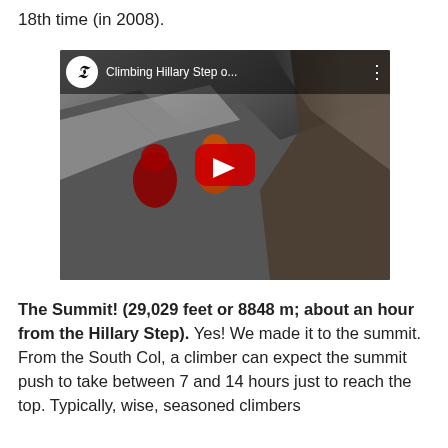18th time (in 2008).
[Figure (screenshot): YouTube video thumbnail showing mountain climbers on a snowy ridge, titled 'Climbing Hillary Step o...' from The Telegraph channel, with a red YouTube play button overlay.]
The Summit! (29,029 feet or 8848 m; about an hour from the Hillary Step). Yes! We made it to the summit. From the South Col, a climber can expect the summit push to take between 7 and 14 hours just to reach the top. Typically, wise, seasoned climbers